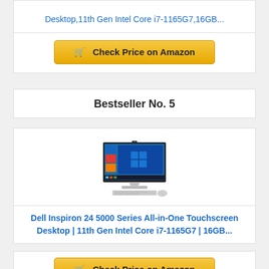Desktop,11th Gen Intel Core i7-1165G7,16GB...
Check Price on Amazon
Bestseller No. 5
[Figure (photo): Dell Inspiron 24 5000 Series All-in-One desktop computer with touchscreen, keyboard and mouse]
Dell Inspiron 24 5000 Series All-in-One Touchscreen Desktop | 11th Gen Intel Core i7-1165G7 | 16GB...
Check Price on Amazon